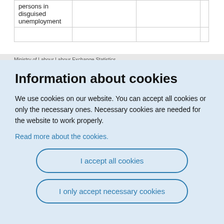| persons in disguised unemployment |  |  |
|  |  |  |
Ministry of Labour Labour Exchange Statistics...
Information about cookies
We use cookies on our website. You can accept all cookies or only the necessary ones. Necessary cookies are needed for the website to work properly.
Read more about the cookies.
I accept all cookies
I only accept necessary cookies